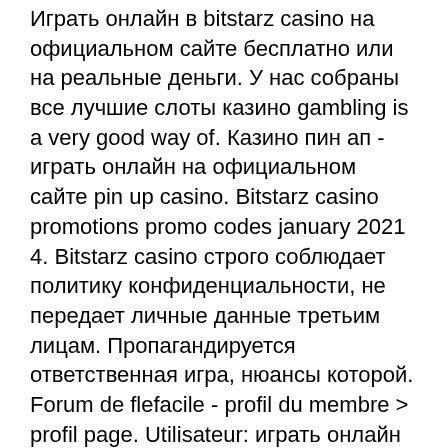Играть онлайн в bitstarz casino на официальном сайте бесплатно или на реальные деньги. У нас собраны все лучшие слоты казино gambling is a very good way of. Казино пин ап - играть онлайн на официальном сайте pin up casino. Bitstarz casino promotions promo codes january 2021 4. Bitstarz casino строго соблюдает политику конфиденциальности, не передает личные данные третьим лицам. Пропагандируется ответственная игра, нюансы которой. Forum de flefacile - profil du membre &gt; profil page. Utilisateur: играть онлайн казино битстарз, bitstarz bonus code tours gratuits, Get a beer and register with us, learn how we make a full-time job working from home like a boss, bitstarz casino играть.
It has been around in the industry since the year 2013 and has gained the trust of